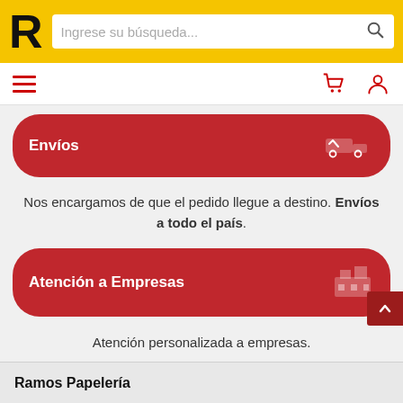R — Ingrese su búsqueda...
[Figure (screenshot): Navigation bar with hamburger menu, shopping cart icon, and user account icon]
Envíos
Nos encargamos de que el pedido llegue a destino. Envíos a todo el país.
Atención a Empresas
Atención personalizada a empresas.
Ramos Papelería
Quiénes Somos
Términos y Condiciones
Seguridad y Privacidad